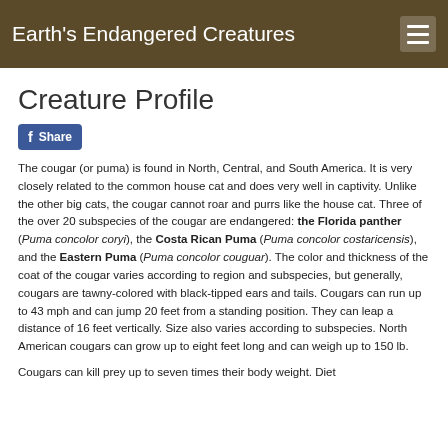Earth's Endangered Creatures
Creature Profile
The cougar (or puma) is found in North, Central, and South America. It is very closely related to the common house cat and does very well in captivity. Unlike the other big cats, the cougar cannot roar and purrs like the house cat. Three of the over 20 subspecies of the cougar are endangered: the Florida panther (Puma concolor coryi), the Costa Rican Puma (Puma concolor costaricensis), and the Eastern Puma (Puma concolor couguar). The color and thickness of the coat of the cougar varies according to region and subspecies, but generally, cougars are tawny-colored with black-tipped ears and tails. Cougars can run up to 43 mph and can jump 20 feet from a standing position. They can leap a distance of 16 feet vertically. Size also varies according to subspecies. North American cougars can grow up to eight feet long and can weigh up to 150 lb.
Cougars can kill prey up to seven times their body weight. Diet